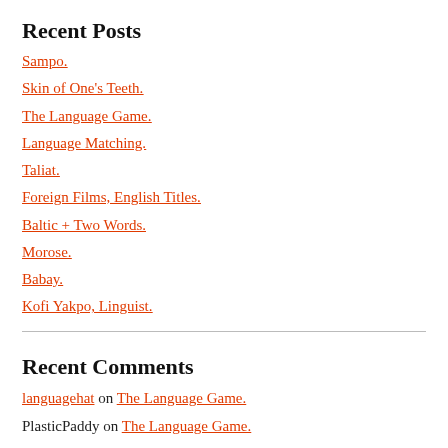Recent Posts
Sampo.
Skin of One's Teeth.
The Language Game.
Language Matching.
Taliat.
Foreign Films, English Titles.
Baltic + Two Words.
Morose.
Babay.
Kofi Yakpo, Linguist.
Recent Comments
languagehat on The Language Game.
PlasticPaddy on The Language Game.